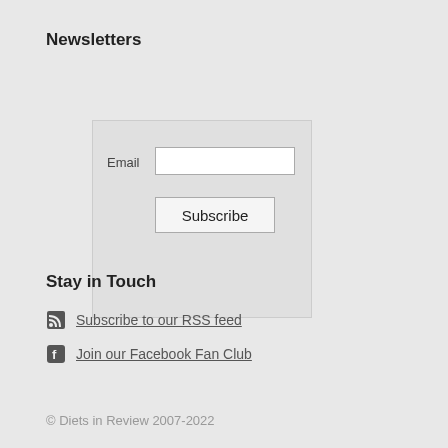Newsletters
[Figure (screenshot): Newsletter email subscription form with Email label, text input field, and Subscribe button on a light gray background]
[Figure (logo): DMCA Protected badge — green left panel with DMCA text and black right panel with PROTECTED text, yellow border]
Stay in Touch
Subscribe to our RSS feed
Join our Facebook Fan Club
© Diets in Review 2007-2022